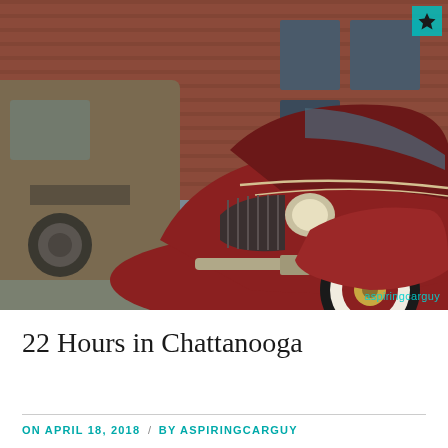[Figure (photo): A restored classic red/maroon vintage car (late 1930s Ford) with whitewall tires parked in front of a brick building, with a rusty old truck visible on the left side. Watermark reads 'aspiringcarguy' in teal. A teal star badge appears in the top-right corner.]
22 Hours in Chattanooga
ON APRIL 18, 2018  /  BY ASPIRINGCARGUY